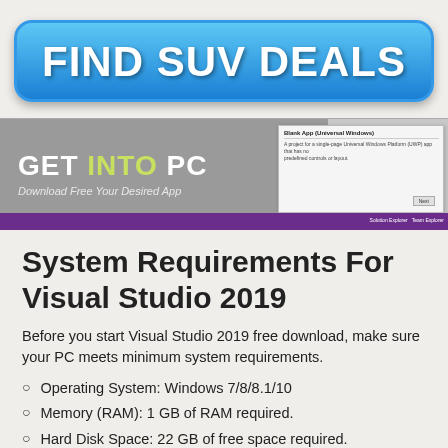[Figure (other): Blue gradient button with text FIND SUV DEALS]
[Figure (screenshot): Screenshot of Get Into PC website showing a Visual Studio dialog window with purple bottom bar]
System Requirements For Visual Studio 2019
Before you start Visual Studio 2019 free download, make sure your PC meets minimum system requirements.
Operating System: Windows 7/8/8.1/10
Memory (RAM): 1 GB of RAM required.
Hard Disk Space: 22 GB of free space required.